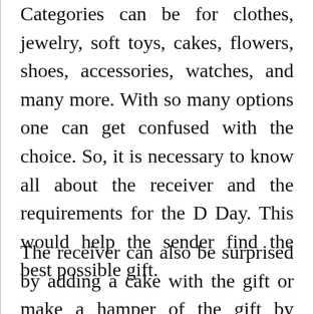Categories can be for clothes, jewelry, soft toys, cakes, flowers, shoes, accessories, watches, and many more. With so many options one can get confused with the choice. So, it is necessary to know all about the receiver and the requirements for the D Day. This would help the sender find the best possible gift.
The receiver can also be surprised by adding a cake with the gift or make a hamper of the gift by adding chocolates, a greeting card and a soft toy to make it look like a complete package. But one should also...